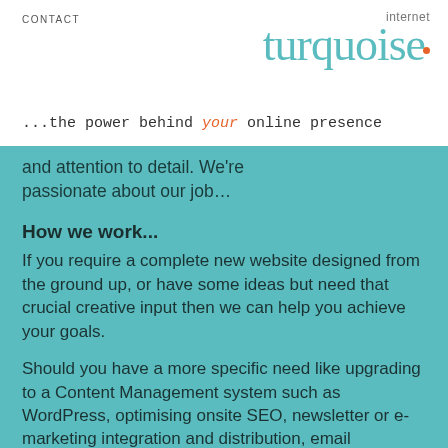CONTACT
[Figure (logo): Turquoise Internet logo with teal turquoise wordmark and orange dot, and tagline '...the power behind your online presence']
and attention to detail. We're passionate about our job…
How we work...
If you require a complete new website designed from the ground up, or have some ideas but need that crucial creative input then we can help you achieve your goals.
Should you have a more specific need like upgrading to a Content Management system such as WordPress, optimising onsite SEO, newsletter or e-marketing integration and distribution, email assistance or just website maintenance then feel free to contact the programmers at Turquoise Internet directly.